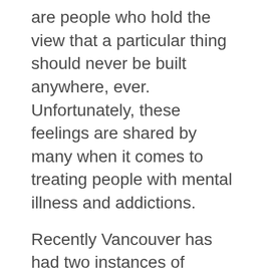are people who hold the view that a particular thing should never be built anywhere, ever. Unfortunately, these feelings are shared by many when it comes to treating people with mental illness and addictions.
Recently Vancouver has had two instances of proposed facilities ending up in storms of controversy in their respective neighbourhoods. Each facility had been in advanced stages of planning and was seeking Vancouver City Council approval.
In the first case, the Vancouver-based Tri...